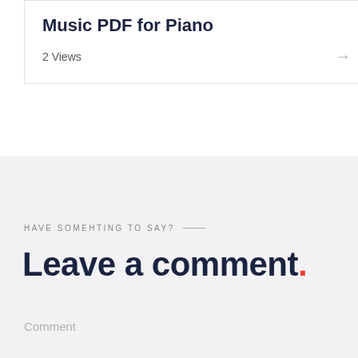Music PDF for Piano
2 Views
HAVE SOMEHTING TO SAY? —
Leave a comment.
Comment